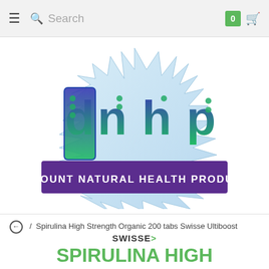≡  🔍 Search   0 🛒
[Figure (logo): DNHP – Discount Natural Health Products logo with stylized letters d, n, h, p in blue-green gradient on icy spiky background, with purple banner reading DISCOUNT NATURAL HEALTH PRODUCTS]
⬅ / Spirulina High Strength Organic 200 tabs Swisse Ultiboost
SWISSE>
SPIRULINA HIGH STRENGTH ORGANIC 200 TABS SWISSE